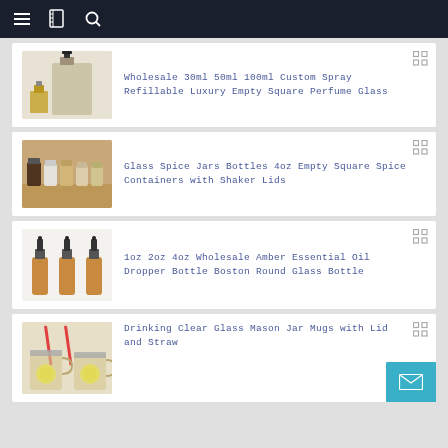Navigation bar with menu, bookmark, and search icons
Wholesale 30ml 50ml 100ml Custom Spray Refillable Luxury Empty Square Perfume Glass
Glass Spice Jars Bottles 4oz Empty Square Spice Containers with Shaker Lids
1oz 2oz 4oz Wholesale Amber Essential Oil Dropper Bottle Boston Round Glass Bottle
Drinking Clear Glass Mason Jar Mugs with Lid and Straw